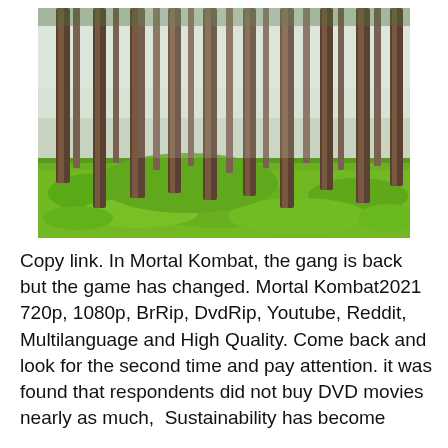[Figure (photo): A dense pine forest with tall, straight tree trunks rising from a ground covered in bright green low vegetation or moss. The scene has a misty, overcast sky visible through the canopy.]
Copy link. In Mortal Kombat, the gang is back but the game has changed. Mortal Kombat2021 720p, 1080p, BrRip, DvdRip, Youtube, Reddit, Multilanguage and High Quality. Come back and look for the second time and pay attention. it was found that respondents did not buy DVD movies nearly as much,  Sustainability has become